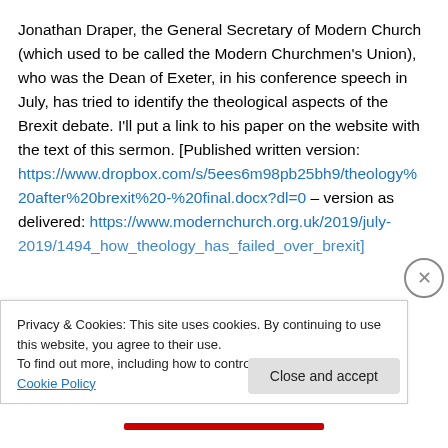Jonathan Draper, the General Secretary of Modern Church (which used to be called the Modern Churchmen's Union), who was the Dean of Exeter, in his conference speech in July, has tried to identify the theological aspects of the Brexit debate. I'll put a link to his paper on the website with the text of this sermon. [Published written version: https://www.dropbox.com/s/5ees6m98pb25bh9/theology%20after%20brexit%20-%20final.docx?dl=0 – version as delivered: https://www.modernchurch.org.uk/2019/july-2019/1494_how_theology_has_failed_over_brexit]
Privacy & Cookies: This site uses cookies. By continuing to use this website, you agree to their use.
To find out more, including how to control cookies, see here: Cookie Policy